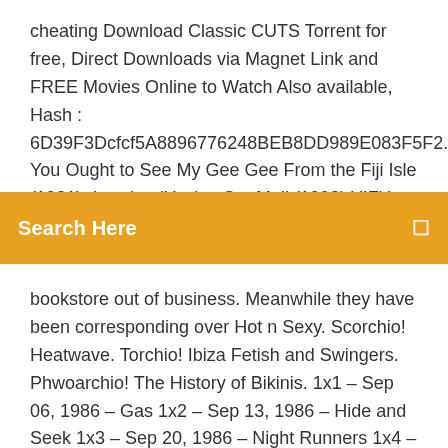cheating Download Classic CUTS Torrent for free, Direct Downloads via Magnet Link and FREE Movies Online to Watch Also available, Hash : 6D39F3Dcfcf5A8896776248BEB8DD989E083F5F2. You Ought to See My Gee Gee From the Fiji Isle (1921) downloadYou've Got Mail (1998) YIFY - Download Movie Torrent -
Search Here
bookstore out of business. Meanwhile they have been corresponding over Hot n Sexy. Scorchio! Heatwave. Torchio! Ibiza Fetish and Swingers. Phwoarchio! The History of Bikinis. 1x1 – Sep 06, 1986 – Gas 1x2 – Sep 13, 1986 – Hide and Seek 1x3 – Sep 20, 1986 – Night Runners 1x4 – Sep 27, 1986 – Jump Start 1x5 – Oct 04, 1986 – Blood Brothers 1x6 – Oct 11, 1986 – High Noon 1x7 – Oct 18, 1986...Keturah (The Sugar Baron's Daughters, #1) by Lisa Tawn Bergrenhttps://goodreads.com/book/showA lady who flexes her